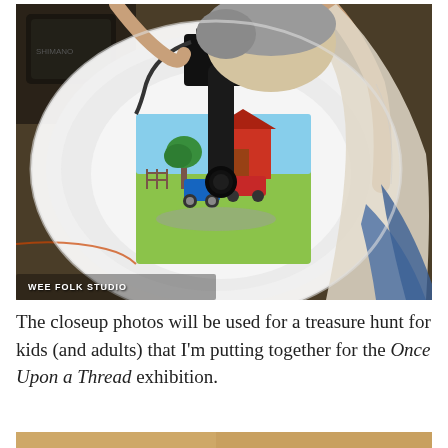[Figure (photo): A man with grey hair leans over a portable photo light tent, pointing a DSLR camera downward to photograph a miniature scene inside the tent. The scene inside appears to be a colorful illustration or diorama of a rural village with a barn and vehicles. A watermark reads 'WEE FOLK STUDIO' in the lower left corner of the photo.]
The closeup photos will be used for a treasure hunt for kids (and adults) that I'm putting together for the Once Upon a Thread exhibition.
[Figure (photo): Partial view of a second photo at the bottom of the page, showing warm golden/brown tones, partially cropped.]